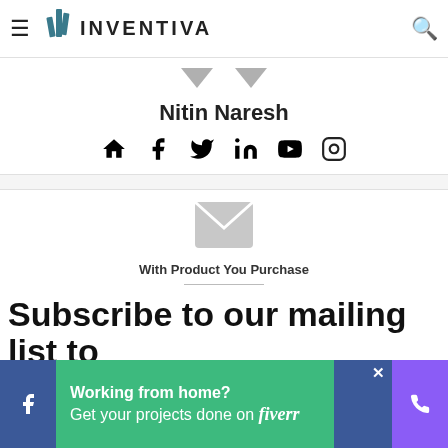INVENTIVA
[Figure (screenshot): Two gray downward pointing triangles serving as dropdown indicators]
Nitin Naresh
[Figure (infographic): Social media icons: home, facebook, twitter, linkedin, youtube, instagram]
[Figure (infographic): Gray envelope/mail icon]
With Product You Purchase
Subscribe to our mailing list to
[Figure (infographic): Bottom ad bar: Facebook icon, green Fiverr ad saying Working from home? Get your projects done on fiverr, blue close button, purple phone icon]